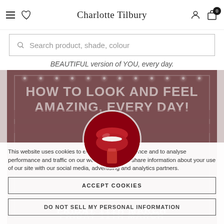Charlotte Tilbury
Search product, shade, colour
BEAUTIFUL version of YOU, every day.
[Figure (screenshot): Charlotte Tilbury website screenshot showing a cookie consent overlay on top of a promotional banner. The banner has a dark red background with marquee lights and reads 'HOW TO LOOK AND FEEL AMAZING, EVERY DAY!' with a circular image of red lips and a lipstick. A cookie consent dialog overlays the page with text about cookies, an 'ACCEPT COOKIES' button, a 'DO NOT SELL MY PERSONAL INFORMATION' button, and 'FRIDAY 11TH MARCH' at the bottom.]
This website uses cookies to enhance user experience and to analyse performance and traffic on our website. We also share information about your use of our site with our social media, advertising and analytics partners.
ACCEPT COOKIES
DO NOT SELL MY PERSONAL INFORMATION
FRIDAY 11TH MARCH